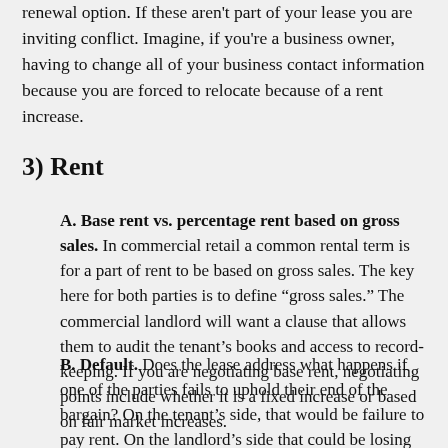renewal option. If these aren't part of your lease you are inviting conflict. Imagine, if you're a business owner, having to change all of your business contact information because you are forced to relocate because of a rent increase.
3) Rent
A. Base rent vs. percentage rent based on gross sales. In commercial retail a common rental term is for a part of rent to be based on gross sales. The key here for both parties is to define "gross sales." The commercial landlord will want a clause that allows them to audit the tenant's books and access to record-keeping. If you are negotiating base rent, negotiating points include whether it is a fixed increase or based on fair market increases.
B. Default. Does the lease address what happens if one of the parties fails to uphold their end of the bargain? On the tenant's side, that would be failure to pay rent. On the landlord's side that could be losing title